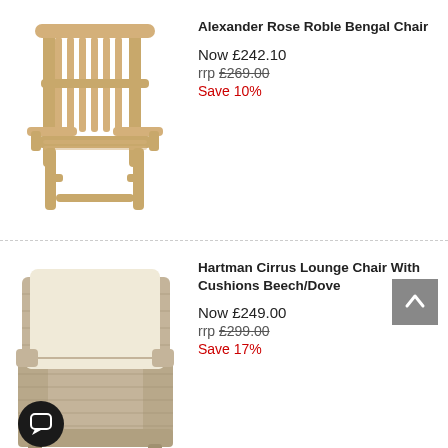[Figure (photo): Alexander Rose Roble Bengal Chair - wooden high-back garden chair with armrests]
Alexander Rose Roble Bengal Chair
Now £242.10
rrp £269.00
Save 10%
[Figure (photo): Hartman Cirrus Lounge Chair with cream cushions and wicker/rattan body in beech/dove colour]
Hartman Cirrus Lounge Chair With Cushions Beech/Dove
Now £249.00
rrp £299.00
Save 17%